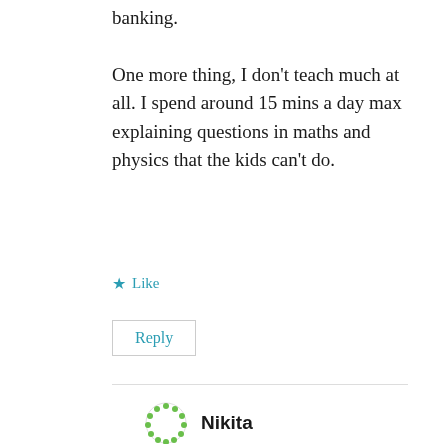banking.
One more thing, I don't teach much at all. I spend around 15 mins a day max explaining questions in maths and physics that the kids can't do.
★ Like
Reply
Nikita
June 4, 2017 at 6:48 am
Well, I have meant teaching in general vs.